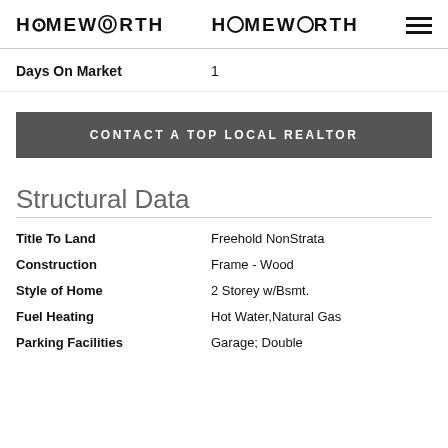HOMEWORTH
Days On Market   1
CONTACT A TOP LOCAL REALTOR
Structural Data
Title To Land   Freehold NonStrata
Construction   Frame - Wood
Style of Home   2 Storey w/Bsmt.
Fuel Heating   Hot Water,Natural Gas
Parking Facilities   Garage; Double